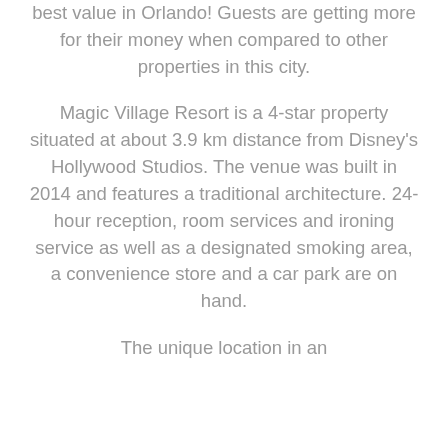best value in Orlando! Guests are getting more for their money when compared to other properties in this city.
Magic Village Resort is a 4-star property situated at about 3.9 km distance from Disney's Hollywood Studios. The venue was built in 2014 and features a traditional architecture. 24-hour reception, room services and ironing service as well as a designated smoking area, a convenience store and a car park are on hand.
The unique location in an